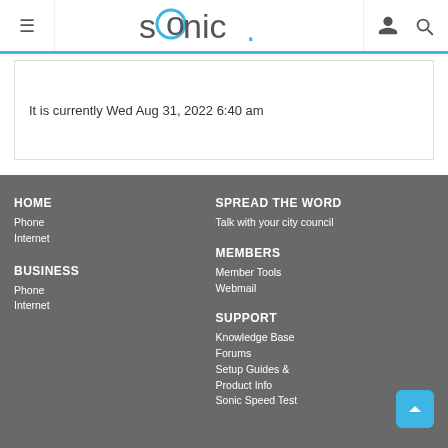≡  sonic.  (user icon) (search icon)
It is currently Wed Aug 31, 2022 6:40 am
HOME
Phone
Internet
BUSINESS
Phone
Internet
SPREAD THE WORD
Talk with your city council
MEMBERS
Member Tools
Webmail
SUPPORT
Knowledge Base
Forums
Setup Guides & Product Info
Sonic Speed Test